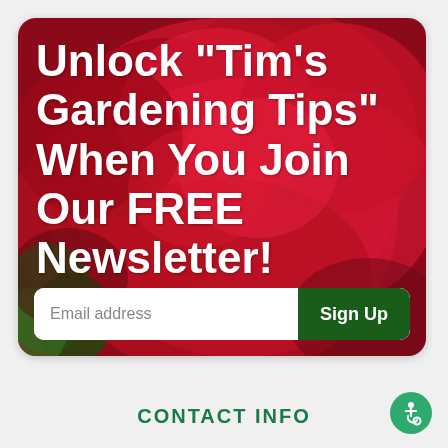[Figure (illustration): Banner card with red rose flower background and newsletter signup form. White bold text reads: Unlock "Tim's Gardening Tips" When You Join Our FREE Newsletter! Below is an email address input field and a dark green Sign Up button.]
CONTACT INFO